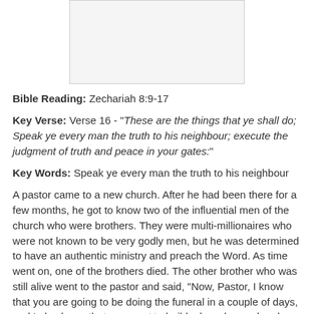[Figure (other): Blank or lightly shaded rectangular image placeholder at top center of page]
Bible Reading: Zechariah 8:9-17
Key Verse: Verse 16 - "These are the things that ye shall do; Speak ye every man the truth to his neighbour; execute the judgment of truth and peace in your gates:"
Key Words: Speak ye every man the truth to his neighbour
A pastor came to a new church. After he had been there for a few months, he got to know two of the influential men of the church who were brothers. They were multi-millionaires who were not known to be very godly men, but he was determined to have an authentic ministry and preach the Word. As time went on, one of the brothers died. The other brother who was still alive went to the pastor and said, "Now, Pastor, I know that you are going to be doing the funeral in a couple of days, and I also know that you want to build a brand new church. So I tell you what, I will put the money in